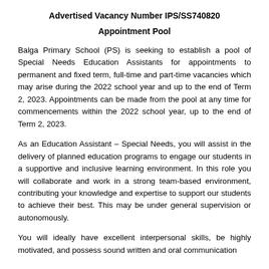Advertised Vacancy Number IPS/SS740820
Appointment Pool
Balga Primary School (PS) is seeking to establish a pool of Special Needs Education Assistants for appointments to permanent and fixed term, full-time and part-time vacancies which may arise during the 2022 school year and up to the end of Term 2, 2023. Appointments can be made from the pool at any time for commencements within the 2022 school year, up to the end of Term 2, 2023.
As an Education Assistant – Special Needs, you will assist in the delivery of planned education programs to engage our students in a supportive and inclusive learning environment. In this role you will collaborate and work in a strong team-based environment, contributing your knowledge and expertise to support our students to achieve their best. This may be under general supervision or autonomously.
You will ideally have excellent interpersonal skills, be highly motivated, and possess sound written and oral communication